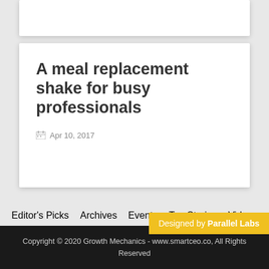A meal replacement shake for busy professionals
Apr 10, 2017
Editor's Picks
Archives
Events
Top Stories
Videos
Designed by Parallel Labs
Copyright © 2020 Growth Mechanics - www.smartceo.co, All Rights Reserved